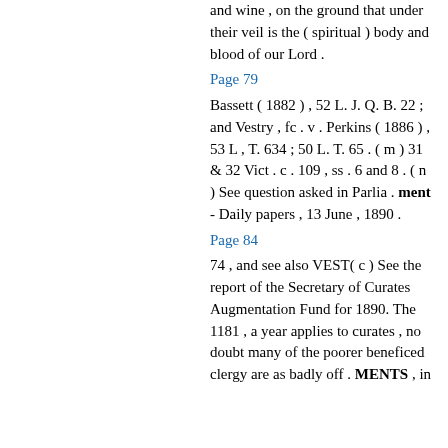and wine , on the ground that under their veil is the ( spiritual ) body and blood of our Lord .
Page 79
Bassett ( 1882 ) , 52 L. J. Q. B. 22 ; and Vestry , fc . v . Perkins ( 1886 ) , 53 L , T. 634 ; 50 L. T. 65 . ( m ) 31 & 32 Vict . c . 109 , ss . 6 and 8 . ( n ) See question asked in Parlia . ment - Daily papers , 13 June , 1890 .
Page 84
74 , and see also VEST( c ) See the report of the Secretary of Curates Augmentation Fund for 1890. The 1181 , a year applies to curates , no doubt many of the poorer beneficed clergy are as badly off . MENTS , in